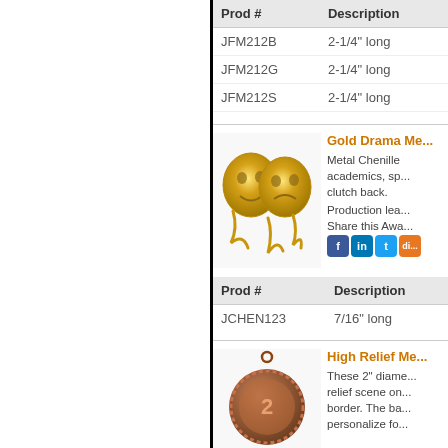| Prod # | Description |
| --- | --- |
| JFM212B | 2-1/4" long |
| JFM212G | 2-1/4" long |
| JFM212S | 2-1/4" long |
[Figure (photo): Gold drama masks chenille pin, comedy and tragedy masks in gold metal]
Gold Drama Me...
Metal Chenille academics, sp... clutch back.
Production lea...
Share this Awa...
| Prod # | Description |
| --- | --- |
| JCHEN123 | 7/16" long |
[Figure (photo): High relief medal, bronze colored circular medal with raised scene and decorative border]
High Relief Me...
These 2" diame... relief scene on... border. The ba... personalize fo...